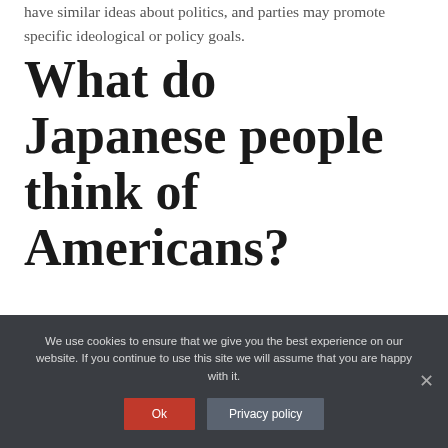have similar ideas about politics, and parties may promote specific ideological or policy goals.
What do Japanese people think of Americans?
The Japanese offer a more mixed assessment of Americans. A majority of Japanese voice the view that Americans are inventive, but half also say
We use cookies to ensure that we give you the best experience on our website. If you continue to use this site we will assume that you are happy with it.